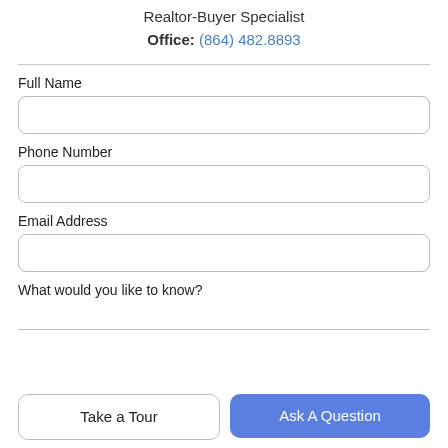Realtor-Buyer Specialist
Office: (864) 482.8893
Full Name
Phone Number
Email Address
What would you like to know?
Take a Tour
Ask A Question